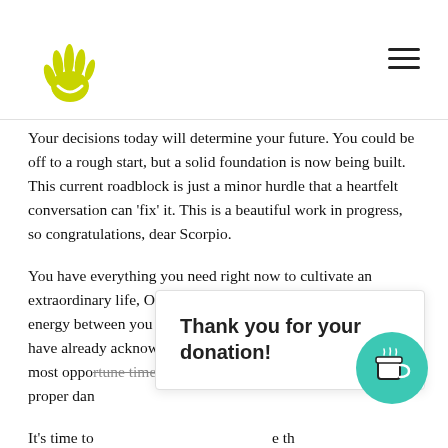[Logo and navigation]
Your decisions today will determine your future. You could be off to a rough start, but a solid foundation is now being built. This current roadblock is just a minor hurdle that a heartfelt conversation can ‘fix’ it. This is a beautiful work in progress, so congratulations, dear Scorpio.
You have everything you need right now to cultivate an extraordinary life, Oracle says. Perhaps this push and pull energy between you and your partner is something that you have already acknowledged, so it’s time to take action. It is the most opportune time to affirm your principles, and work that proper dan
It’s time to … e th opportuni
[Figure (other): Thank you for your donation! popup overlay with teal coffee cup button]
Thank you for your donation!